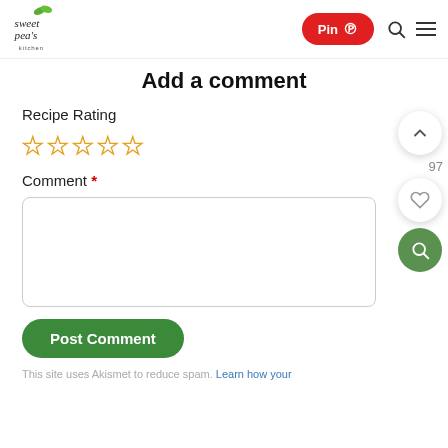[Figure (logo): Sweet Peas Kitchen logo with green leaf and cursive text]
Add a comment
Recipe Rating
[Figure (other): Five empty star rating icons in orange/gold color]
Comment *
[Figure (other): Comment text area input box]
Post Comment
This site uses Akismet to reduce spam. Learn how your